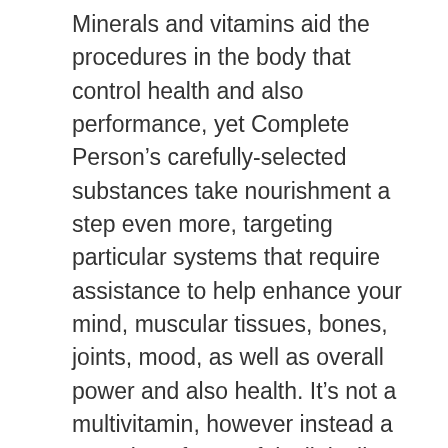Minerals and vitamins aid the procedures in the body that control health and also performance, yet Complete Person’s carefully-selected substances take nourishment a step even more, targeting particular systems that require assistance to help enhance your mind, muscular tissues, bones, joints, mood, as well as overall power and also health. It’s not a multivitamin, however instead a grouping of powerful, clinically-studied ingredients that have been curated from Onnit’s most preferred existing supplements. In Alpha BRAIN, as an example, we give you a good dose of vitamin B6, which assists natural chemical production to promote cognitive rate, but we likewise supply huperzia serrata, a clubmoss that aids stop the malfunction of neurotransmitters. Think: extra in, much less out. Is your multivitamin this thorough?